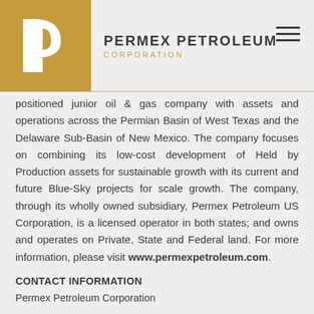PERMEX PETROLEUM CORPORATION
positioned junior oil & gas company with assets and operations across the Permian Basin of West Texas and the Delaware Sub-Basin of New Mexico. The company focuses on combining its low-cost development of Held by Production assets for sustainable growth with its current and future Blue-Sky projects for scale growth. The company, through its wholly owned subsidiary, Permex Petroleum US Corporation, is a licensed operator in both states; and owns and operates on Private, State and Federal land. For more information, please visit www.permexpetroleum.com.
CONTACT INFORMATION
Permex Petroleum Corporation
Mehran Ehsan